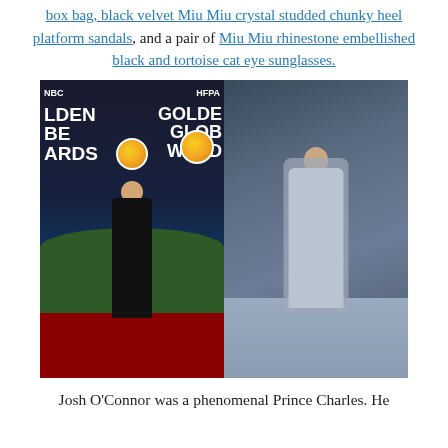box bag, black velvet Miu Miu crystal studded chunky heel platform sandals, and a pair of Miu Miu rhinestone embellished black and tortoise cat eye sunglasses.
[Figure (photo): Two side-by-side photos: left shows a young man in a black tuxedo at the Golden Globes red carpet (NBC/HFPA backdrop), right shows a male model on a runway wearing a gray longline coat over blue trousers.]
Josh O'Connor was a phenomenal Prince Charles. He